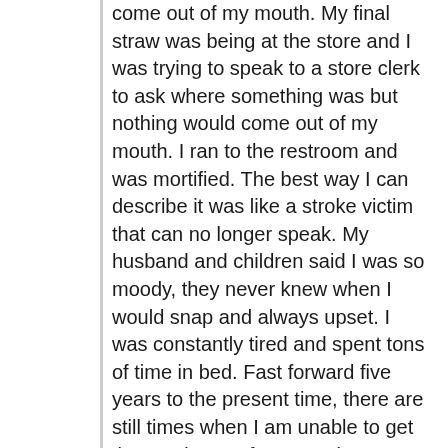come out of my mouth. My final straw was being at the store and I was trying to speak to a store clerk to ask where something was but nothing would come out of my mouth. I ran to the restroom and was mortified. The best way I can describe it was like a stroke victim that can no longer speak. My husband and children said I was so moody, they never knew when I would snap and always upset. I was constantly tired and spent tons of time in bed. Fast forward five years to the present time, there are still times when I am unable to get the words out of my mouth. Sometimes I will ask my family questions and then ask them again because I didn't realize I had asked them. I am on no medication, that was the final medication I was willing to try. I finally found doctors that were more interested in finding the cause of my pain rather than masking it with pills. December of 2015 I had surgery on my obturator nerve. I